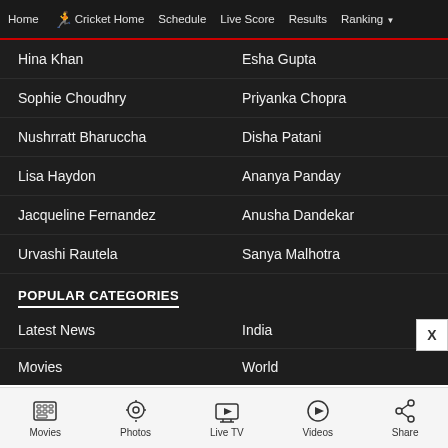Home | Cricket Home | Schedule | Live Score | Results | Ranking
Hina Khan
Esha Gupta
Sophie Choudhry
Priyanka Chopra
Nushrratt Bharuccha
Disha Patani
Lisa Haydon
Ananya Panday
Jacqueline Fernandez
Anusha Dandekar
Urvashi Rautela
Sanya Malhotra
POPULAR CATEGORIES
Latest News
India
Movies
World
Movies | Photos | Live TV | Videos | Share